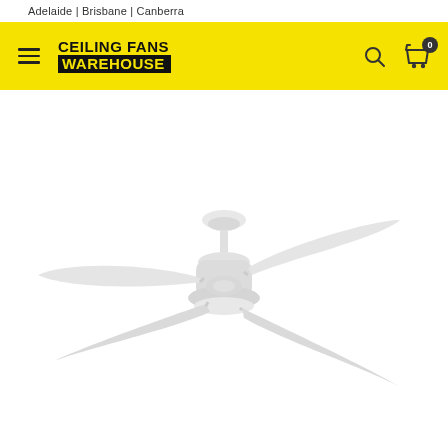Adelaide | Brisbane | Canberra
[Figure (logo): Ceiling Fans Warehouse logo with yellow background navigation bar, hamburger menu, search icon, and cart icon with badge showing 0]
[Figure (photo): A white 4-blade ceiling fan with a round motor housing and short downrod, photographed on white background]